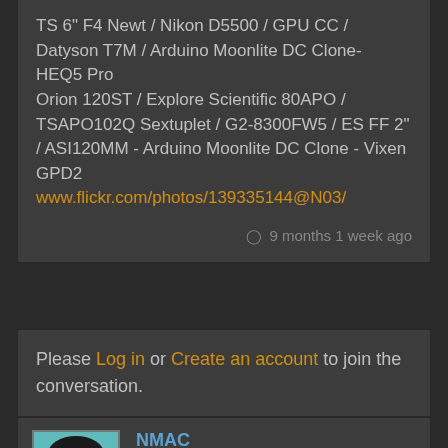TS 6" F4 Newt / Nikon D5500 / GPU CC / Datyson T7M / Arduino Moonlite DC Clone- HEQ5 Pro
Orion 120ST / Explore Scientific 80APO / TSAPO102Q Sextuplet / G2-8300FW5 / ES FF 2" / ASI120MM - Arduino Moonlite DC Clone - Vixen GPD2
www.flickr.com/photos/139335144@N03/
9 months 1 week ago
Please Log in or Create an account to join the conversation.
NMAC
Offline